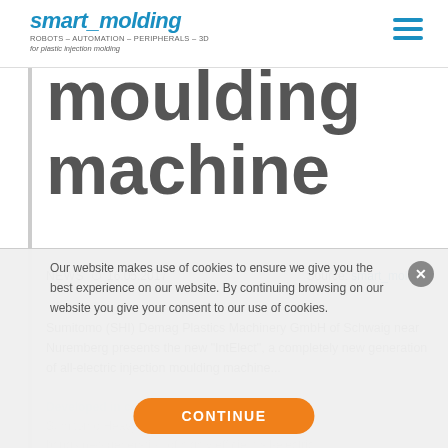smart_molding ROBOTS – AUTOMATION – PERIPHERALS – 3D for plastic injection molding
moulding machine
NEWS  16.05.2017   Source: smart_molding
Sumitomo (SHI) Demag Plastics Machinery GmbH of Schwaig near Nuremberg presents the new "IntElect", a completely new generation of all-electric injection moulding machines.
Our website makes use of cookies to ensure we give you the best experience on our website. By continuing browsing on our website you give your consent to our use of cookies.
CONTINUE